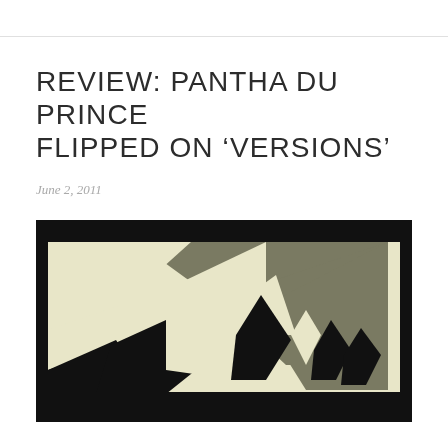REVIEW: PANTHA DU PRINCE FLIPPED ON 'VERSIONS'
June 2, 2011
[Figure (illustration): Abstract geometric album art with black border. Features angular cream/off-white triangular shapes against a grey-green background, with black triangular forms along the bottom edge, suggesting a stylized mountainscape.]